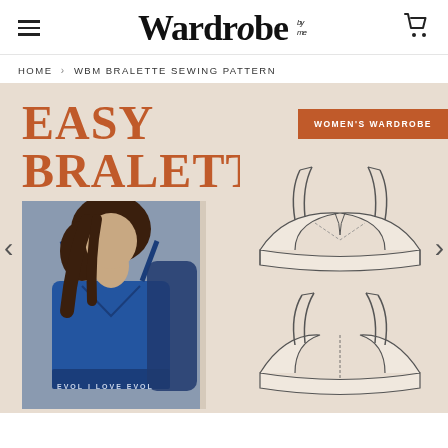Wardrobe by Me
HOME > WBM BRALETTE SEWING PATTERN
[Figure (photo): Product page showing Easy Bralette sewing pattern. Beige background with orange text reading 'EASY BRALETTE SIZE XS-3XL', a Women's Wardrobe orange badge, a photo of a woman wearing a blue bralette, and technical flat sketches of the bralette front and back views. Navigation arrows on left and right sides.]